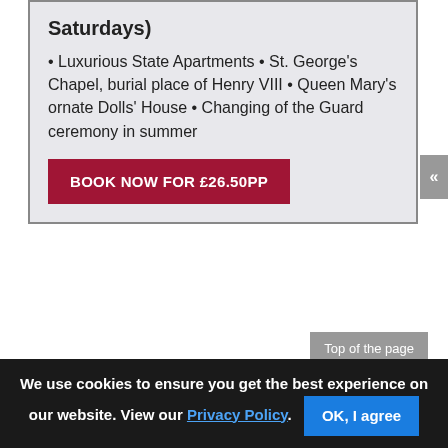Saturdays)
• Luxurious State Apartments • St. George's Chapel, burial place of Henry VIII • Queen Mary's ornate Dolls' House • Changing of the Guard ceremony in summer
BOOK NOW FOR £26.50pp
Top of the page
Hampton Court Palace
We use cookies to ensure you get the best experience on our website. View our Privacy Policy. OK, I agree